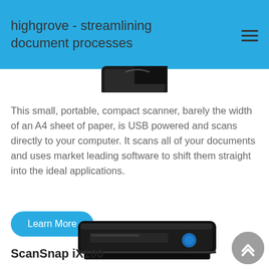highgrove - streamlining document processes
[Figure (photo): Partial view of a black compact document scanner, cropped at the top]
This small, portable, compact scanner, barely the width of an A4 sheet of paper, is USB powered and scans directly to your computer. It scans all of your documents and uses market leading software to shift them straight into the ideal applications.
Learn More
[Figure (photo): ScanSnap iX100 black compact portable document scanner, partially visible at the bottom of the page]
ScanSnap iX100